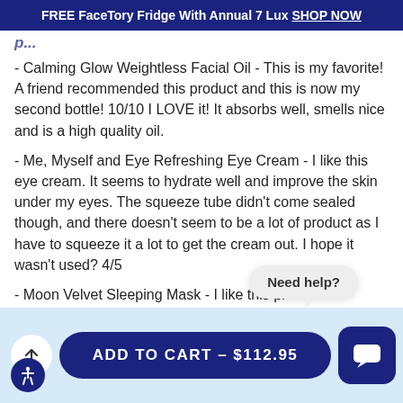FREE FaceTory Fridge With Annual 7 Lux SHOP NOW
p...
- Calming Glow Weightless Facial Oil - This is my favorite! A friend recommended this product and this is now my second bottle! 10/10 I LOVE it! It absorbs well, smells nice and is a high quality oil.
- Me, Myself and Eye Refreshing Eye Cream - I like this eye cream. It seems to hydrate well and improve the skin under my eyes. The squeeze tube didn't come sealed though, and there doesn't seem to be a lot of product as I have to squeeze it a lot to get the cream out. I hope it wasn't used? 4/5
- Moon Velvet Sleeping Mask - I like this pr...
Need help?
ADD TO CART - $112.95